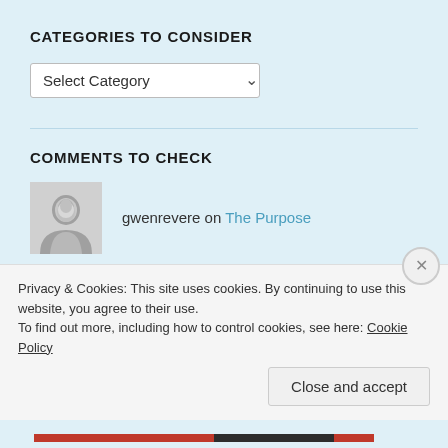CATEGORIES TO CONSIDER
[Figure (screenshot): Dropdown select box with 'Select Category' placeholder and chevron]
COMMENTS TO CHECK
gwenrevere on The Purpose
laco09 on What I Want
Arthur on Great-Great Grandpa Alfred
Privacy & Cookies: This site uses cookies. By continuing to use this website, you agree to their use. To find out more, including how to control cookies, see here: Cookie Policy
Close and accept